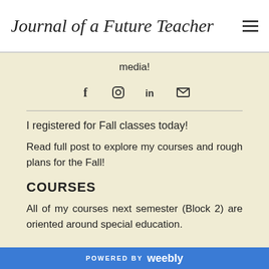Journal of a Future Teacher
media!
[Figure (other): Social media icons: Facebook, Instagram, LinkedIn, Email]
I registered for Fall classes today!
Read full post to explore my courses and rough plans for the Fall!
COURSES
All of my courses next semester (Block 2) are oriented around special education.
POWERED BY weebly